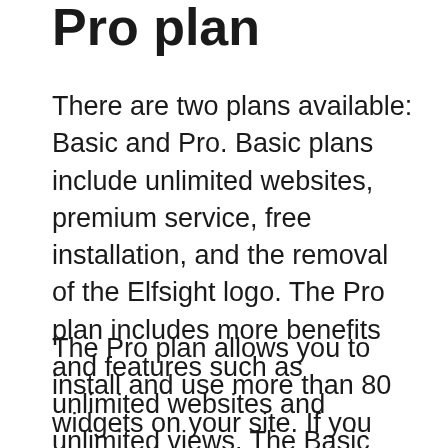Pro plan
There are two plans available: Basic and Pro. Basic plans include unlimited websites, premium service, free installation, and the removal of the Elfsight logo. The Pro plan includes more benefits and features such as unlimited websites and unlimited views. The Basic plan is $5/month or $180/year and is perfect for small websites. If you are planning to build a large website, you can choose the Pro plan, which costs $80/month or $1,500/year.
The Pro plan allows you to install and use more than 80 widgets on your site. If you choose the Pro plan, you will also receive premium customer service and free